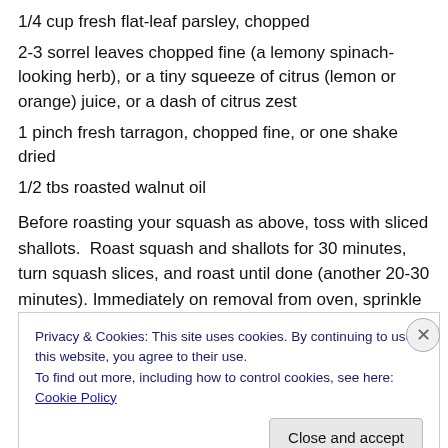1/4 cup fresh flat-leaf parsley, chopped
2-3 sorrel leaves chopped fine (a lemony spinach-looking herb), or a tiny squeeze of citrus (lemon or orange) juice, or a dash of citrus zest
1 pinch fresh tarragon, chopped fine, or one shake dried
1/2 tbs roasted walnut oil
Before roasting your squash as above, toss with sliced shallots.  Roast squash and shallots for 30 minutes, turn squash slices, and roast until done (another 20-30 minutes). Immediately on removal from oven, sprinkle
Privacy & Cookies: This site uses cookies. By continuing to use this website, you agree to their use.
To find out more, including how to control cookies, see here: Cookie Policy
Close and accept